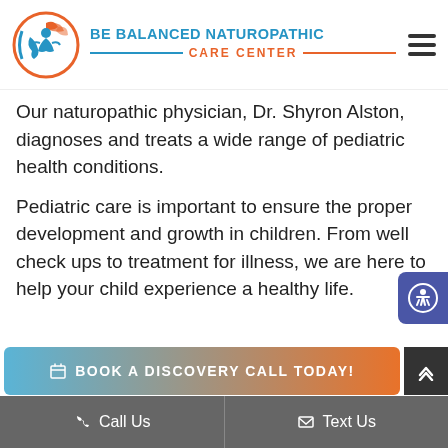[Figure (logo): Be Balanced Naturopathic Care Center logo with circular icon (figure with orange leaves and blue wave) and text]
Our naturopathic physician, Dr. Shyron Alston, diagnoses and treats a wide range of pediatric health conditions.
Pediatric care is important to ensure the proper development and growth in children. From well check ups to treatment for illness, we are here to help your child experience a healthy life.
BOOK A DISCOVERY CALL TODAY!
Call Us   Text Us